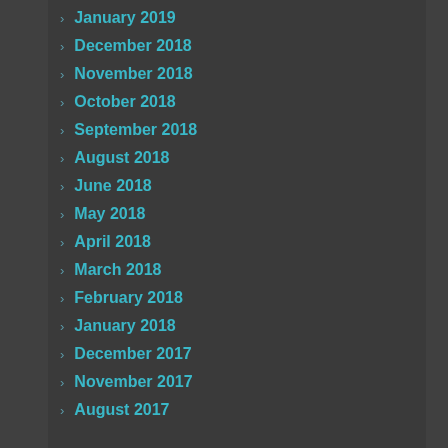January 2019
December 2018
November 2018
October 2018
September 2018
August 2018
June 2018
May 2018
April 2018
March 2018
February 2018
January 2018
December 2017
November 2017
August 2017